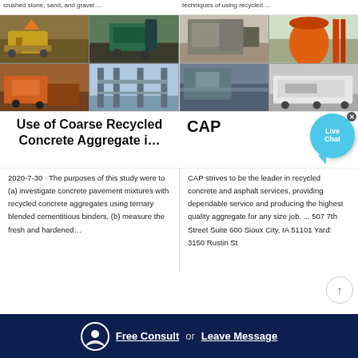crushed stone, sand, and gravel ...
techniques of using recycled ...
[Figure (photo): Four photos of quarry/aggregate processing equipment and facilities]
[Figure (photo): Four photos of recycled concrete and asphalt processing equipment]
Use of Coarse Recycled Concrete Aggregate i…
CAP
[Figure (other): Live Chat bubble widget with close button]
2020-7-30 · The purposes of this study were to (a) investigate concrete pavement mixtures with recycled concrete aggregates using ternary blended cementitious binders, (b) measure the fresh and hardened…
CAP strives to be the leader in recycled concrete and asphalt services, providing dependable service and producing the highest quality aggregate for any size job. ... 507 7th Street Suite 600 Sioux City, IA 51101 Yard: 3150 Rustin St
Free Consult or Leave Message